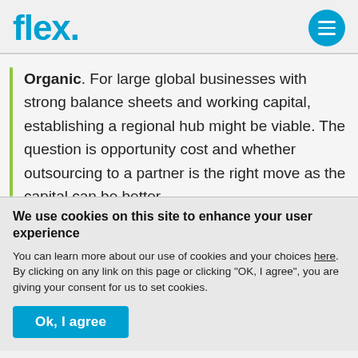flex.
Organic. For large global businesses with strong balance sheets and working capital, establishing a regional hub might be viable. The question is opportunity cost and whether outsourcing to a partner is the right move as the capital can be better
We use cookies on this site to enhance your user experience
You can learn more about our use of cookies and your choices here. By clicking on any link on this page or clicking "OK, I agree", you are giving your consent for us to set cookies.
Ok, I agree